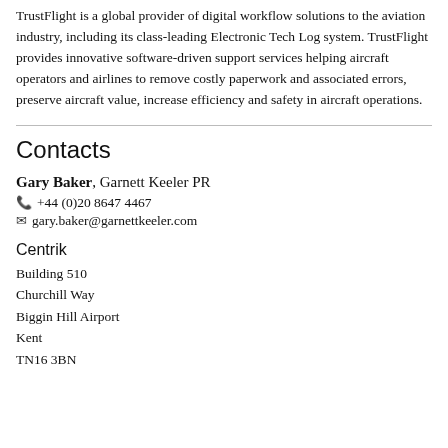TrustFlight is a global provider of digital workflow solutions to the aviation industry, including its class-leading Electronic Tech Log system. TrustFlight provides innovative software-driven support services helping aircraft operators and airlines to remove costly paperwork and associated errors, preserve aircraft value, increase efficiency and safety in aircraft operations.
Contacts
Gary Baker, Garnett Keeler PR
+44 (0)20 8647 4467
gary.baker@garnettkeeler.com
Centrik
Building 510
Churchill Way
Biggin Hill Airport
Kent
TN16 3BN